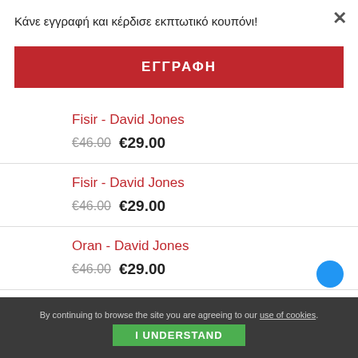Κάνε εγγραφή και κέρδισε εκπτωτικό κουπόνι!
×
ΕΓΓΡΑΦΗ
Fisir - David Jones
€46.00  €29.00
Fisir - David Jones
€46.00  €29.00
Oran - David Jones
€46.00  €29.00
Camel - David Jones
By continuing to browse the site you are agreeing to our use of cookies.
I UNDERSTAND